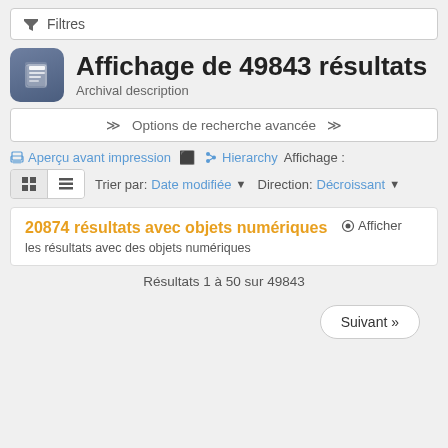Filtres
Affichage de 49843 résultats
Archival description
Options de recherche avancée
Aperçu avant impression   Hierarchy   Affichage :
Trier par: Date modifiée ▼   Direction: Décroissant ▼
20874 résultats avec objets numériques   Afficher
les résultats avec des objets numériques
Résultats 1 à 50 sur 49843
Suivant »